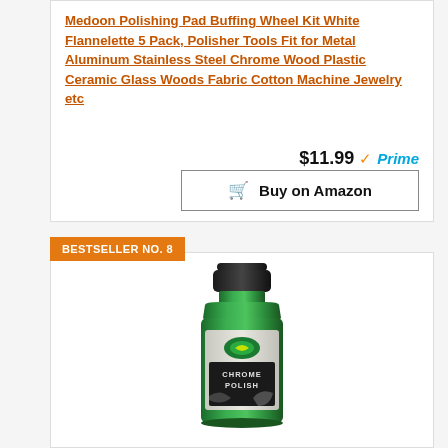Medoon Polishing Pad Buffing Wheel Kit White Flannelette 5 Pack, Polisher Tools Fit for Metal Aluminum Stainless Steel Chrome Wood Plastic Ceramic Glass Woods Fabric Cotton Machine Jewelry etc
$11.99 Prime
Buy on Amazon
BESTSELLER NO. 8
[Figure (photo): Green bottle of Turtle Wax Chrome Polish car care product with black cap]